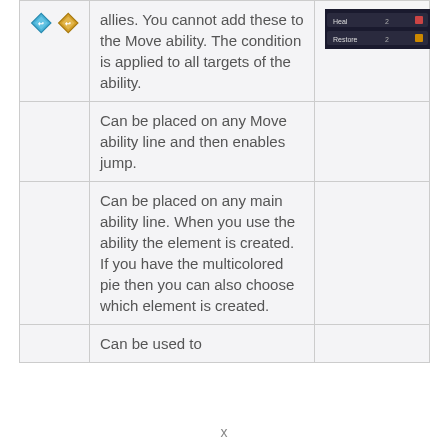| Icon | Description | Image |
| --- | --- | --- |
| [two diamond icons] | allies. You cannot add these to the Move ability. The condition is applied to all targets of the ability. | [game UI screenshot] |
|  | Can be placed on any Move ability line and then enables jump. |  |
|  | Can be placed on any main ability line. When you use the ability the element is created. If you have the multicolored pie then you can also choose which element is created. |  |
|  | Can be used to |  |
x